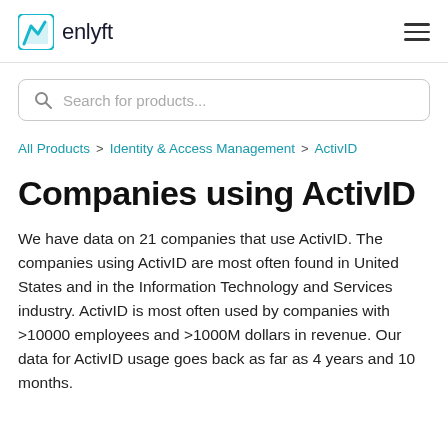enlyft
Search for products...
All Products > Identity & Access Management > ActivID
Companies using ActivID
We have data on 21 companies that use ActivID. The companies using ActivID are most often found in United States and in the Information Technology and Services industry. ActivID is most often used by companies with >10000 employees and >1000M dollars in revenue. Our data for ActivID usage goes back as far as 4 years and 10 months.